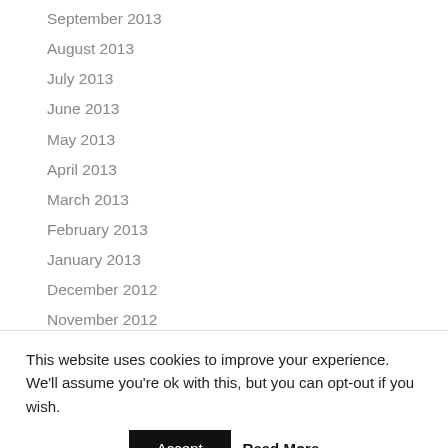September 2013
August 2013
July 2013
June 2013
May 2013
April 2013
March 2013
February 2013
January 2013
December 2012
November 2012
This website uses cookies to improve your experience. We'll assume you're ok with this, but you can opt-out if you wish.
Accept | Read More